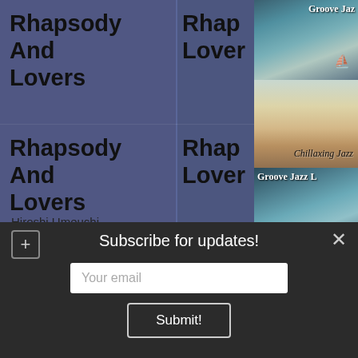[Figure (screenshot): Music streaming app screenshot showing album cards for 'Rhapsody And Lovers' by Hiroshi Umeuchi in a purple-blue tinted grid layout, with album art thumbnails on the right showing 'Groove Jazz', 'Chillaxing Jazz', and 'Groove Jazz' covers]
Rhapsody And Lovers
Hiroshi Umeuchi
Rhapsody And Lovers
Groove Jazz
Chillaxing Jazz
Groove Jazz
Subscribe for updates!
Your email
Submit!